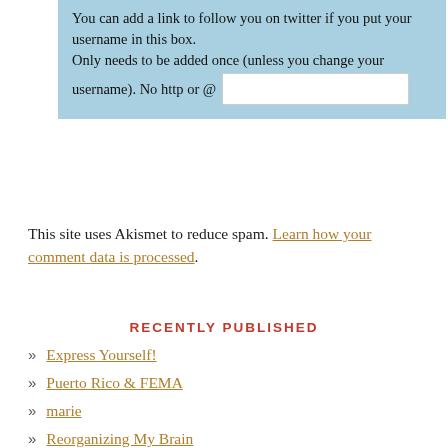You can add a link to follow you on twitter if you put your username in this box. Only needs to be added once (unless you change your username). No http or @
RECENTLY PUBLISHED
Express Yourself!
Puerto Rico & FEMA
marie
Reorganizing My Brain
Take Me as I Say Not as I Do
This site uses Akismet to reduce spam. Learn how your comment data is processed.